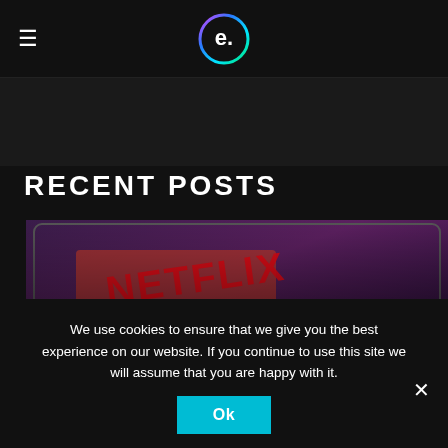≡  e.
RECENT POSTS
[Figure (photo): A tablet showing the Netflix app interface with movie thumbnails and the Netflix logo visible. The image has a purple/dark toned overlay.]
HOW WELL DO THE MAJOR STREAMING PLATFORMS APPS HOLD UP ON SOME...
We use cookies to ensure that we give you the best experience on our website. If you continue to use this site we will assume that you are happy with it.
Ok